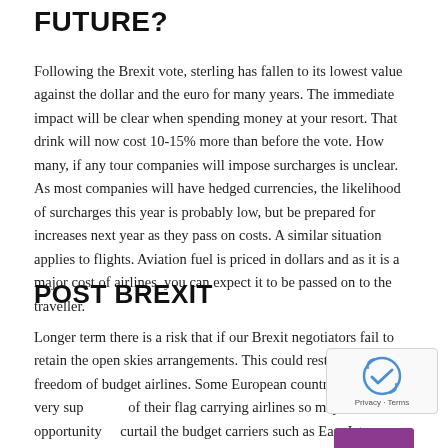FUTURE?
Following the Brexit vote, sterling has fallen to its lowest value against the dollar and the euro for many years. The immediate impact will be clear when spending money at your resort. That drink will now cost 10-15% more than before the vote. How many, if any tour companies will impose surcharges is unclear. As most companies will have hedged currencies, the likelihood of surcharges this year is probably low, but be prepared for increases next year as they pass on costs. A similar situation applies to flights. Aviation fuel is priced in dollars and as it is a major cost of airlines, you can expect it to be passed on to the traveller.
POST BREXIT
Longer term there is a risk that if our Brexit negotiators fail to retain the open skies arrangements. This could restrict the freedom of budget airlines. Some European countries have been very supportive of their flag carrying airlines so may welcome an opportunity to curtail the budget carriers such as EasyJet.